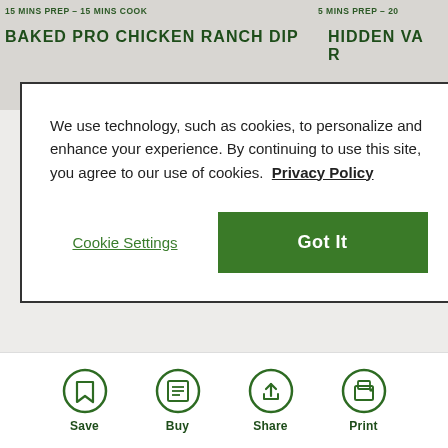15 MINS PREP - 15 MINS COOK
BAKED PRO CHICKEN RANCH DIP
5 MINS PREP - 20...
HIDDEN VA... R...
We use technology, such as cookies, to personalize and enhance your experience. By continuing to use this site, you agree to our use of cookies. Privacy Policy
Cookie Settings
Got It
70 REVIEWS
Save
Buy
Share
Print